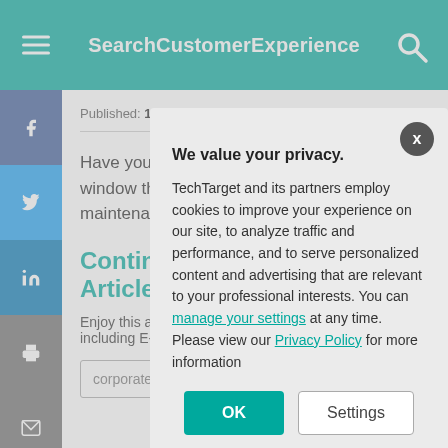SearchCustomerExperience
Published: 19 Apr 2018
Have you ever been annoyed at the four-hour window that field service providers offer for maintenance, ultimately...
Continue Article
Enjoy this article including E-G...
corporate em...
We value your privacy. TechTarget and its partners employ cookies to improve your experience on our site, to analyze traffic and performance, and to serve personalized content and advertising that are relevant to your professional interests. You can manage your settings at any time. Please view our Privacy Policy for more information